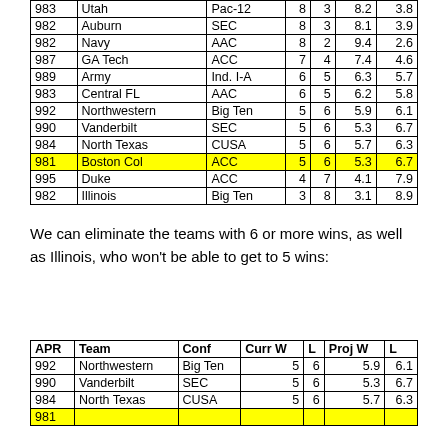| APR | Team | Conf | Curr W | L | Proj W | L |
| --- | --- | --- | --- | --- | --- | --- |
| 983 | Utah | Pac-12 | 8 | 3 | 8.2 | 3.8 |
| 982 | Auburn | SEC | 8 | 3 | 8.1 | 3.9 |
| 982 | Navy | AAC | 8 | 2 | 9.4 | 2.6 |
| 987 | GA Tech | ACC | 7 | 4 | 7.4 | 4.6 |
| 989 | Army | Ind. I-A | 6 | 5 | 6.3 | 5.7 |
| 983 | Central FL | AAC | 6 | 5 | 6.2 | 5.8 |
| 992 | Northwestern | Big Ten | 5 | 6 | 5.9 | 6.1 |
| 990 | Vanderbilt | SEC | 5 | 6 | 5.3 | 6.7 |
| 984 | North Texas | CUSA | 5 | 6 | 5.7 | 6.3 |
| 981 | Boston Col | ACC | 5 | 6 | 5.3 | 6.7 |
| 995 | Duke | ACC | 4 | 7 | 4.1 | 7.9 |
| 982 | Illinois | Big Ten | 3 | 8 | 3.1 | 8.9 |
We can eliminate the teams with 6 or more wins, as well as Illinois, who won't be able to get to 5 wins:
| APR | Team | Conf | Curr W | L | Proj W | L |
| --- | --- | --- | --- | --- | --- | --- |
| 992 | Northwestern | Big Ten | 5 | 6 | 5.9 | 6.1 |
| 990 | Vanderbilt | SEC | 5 | 6 | 5.3 | 6.7 |
| 984 | North Texas | CUSA | 5 | 6 | 5.7 | 6.3 |
| 981 | Boston Col | ACC | 5 | 6 | 5.3 | 6.7 |